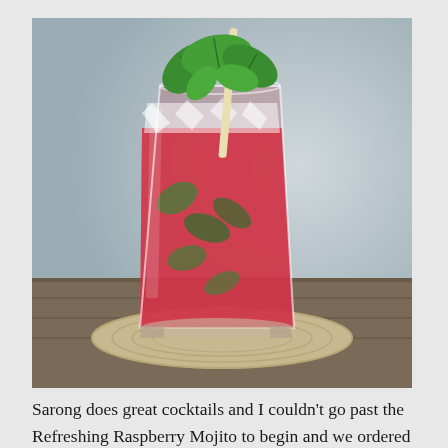[Figure (photo): A tall glass of Raspberry Mojito cocktail with red liquid, ice, fresh mint leaves on top, and a pale straw, sitting on a woven placemat on a wooden surface with a blurred grey background.]
Sarong does great cocktails and I couldn't go past the Refreshing Raspberry Mojito to begin and we ordered a bottle of D'Arenberg Shiraz to go with dinner. Wines are expensive due to taxes and in